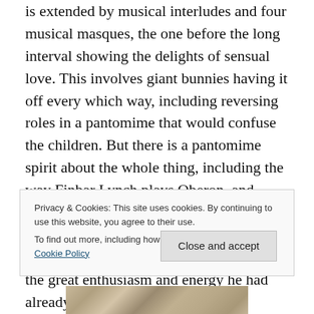is extended by musical interludes and four musical masques, the one before the long interval showing the delights of sensual love. This involves giant bunnies having it off every which way, including reversing roles in a pantomime that would confuse the children. But there is a pantomime spirit about the whole thing, including the way Finbar Lynch plays Oberon, and when conductor Laurence Cummings appeared for curtain calls at the end his bunny tail and huge white feet reflected the great enthusiasm and energy he had already shown in the orchestra pit, producing a lively performance from the
Privacy & Cookies: This site uses cookies. By continuing to use this website, you agree to their use.
To find out more, including how to control cookies, see here: Cookie Policy
[Figure (photo): Partial view of a photo at the bottom of the page showing what appears to be costumed performers or animals, partially obscured]